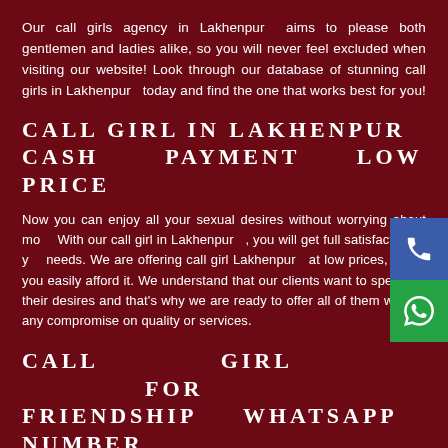Our call girls agency in Lakhenpur  aims to please both gentlemen and ladies alike, so you will never feel excluded when visiting our website! Look through our database of stunning call girls in Lakhenpur   today and find the one that works best for you!
CALL GIRL IN LAKHENPUR CASH        PAYMENT      LOW PRICE
Now you can enjoy all your sexual desires without worrying about mo... With our call girl in Lakhenpur  , you will get full satisfaction of y... needs. We are offering call girl Lakhenpur  at low prices, which you easily afford it. We understand that our clients want to spend on their desires and that’s why we are ready to offer all of them without any compromise on quality or services.
CALL             GIRL             FOR FRIENDSHIP        WHATSAPP NUMBER